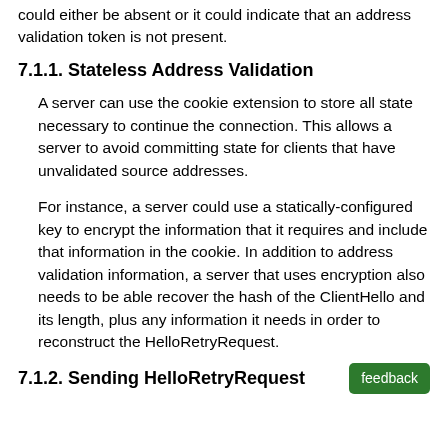could either be absent or it could indicate that an address validation token is not present.
7.1.1. Stateless Address Validation
A server can use the cookie extension to store all state necessary to continue the connection. This allows a server to avoid committing state for clients that have unvalidated source addresses.
For instance, a server could use a statically-configured key to encrypt the information that it requires and include that information in the cookie. In addition to address validation information, a server that uses encryption also needs to be able recover the hash of the ClientHello and its length, plus any information it needs in order to reconstruct the HelloRetryRequest.
7.1.2. Sending HelloRetryRequest